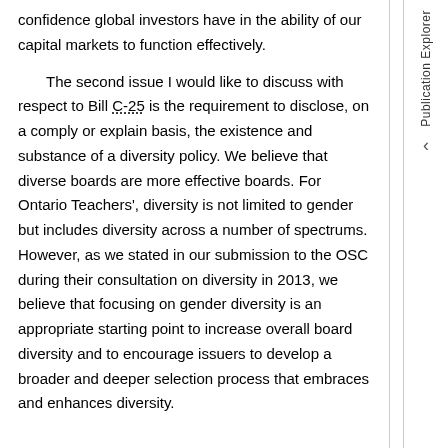confidence global investors have in the ability of our capital markets to function effectively.
The second issue I would like to discuss with respect to Bill C-25 is the requirement to disclose, on a comply or explain basis, the existence and substance of a diversity policy. We believe that diverse boards are more effective boards. For Ontario Teachers', diversity is not limited to gender but includes diversity across a number of spectrums. However, as we stated in our submission to the OSC during their consultation on diversity in 2013, we believe that focusing on gender diversity is an appropriate starting point to increase overall board diversity and to encourage issuers to develop a broader and deeper selection process that embraces and enhances diversity.